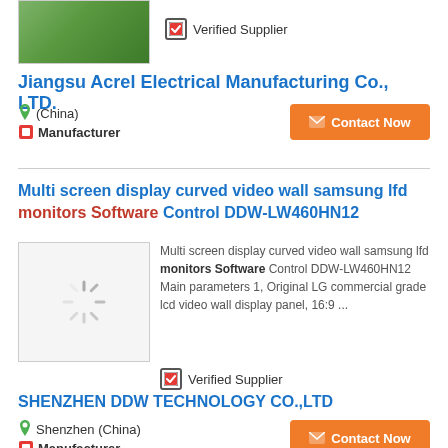[Figure (photo): Product image - circuit board (partial, green PCB visible)]
✓ Verified Supplier
Jiangsu Acrel Electrical Manufacturing Co., LTD.
(China)
Manufacturer
Contact Now
Multi screen display curved video wall samsung lfd monitors Software Control DDW-LW460HN12
[Figure (photo): Loading spinner / image placeholder for product]
Multi screen display curved video wall samsung lfd monitors Software Control DDW-LW460HN12 Main parameters 1, Original LG commercial grade lcd video wall display panel, 16:9 ...
✓ Verified Supplier
SHENZHEN DDW TECHNOLOGY CO.,LTD
Shenzhen (China)
Manufacturer
Contact Now